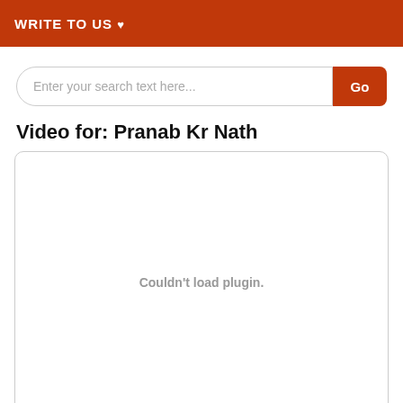WRITE TO US ♥
Enter your search text here...
Video for: Pranab Kr Nath
[Figure (other): Video player area showing 'Couldn't load plugin.' error message inside a rounded rectangle box]